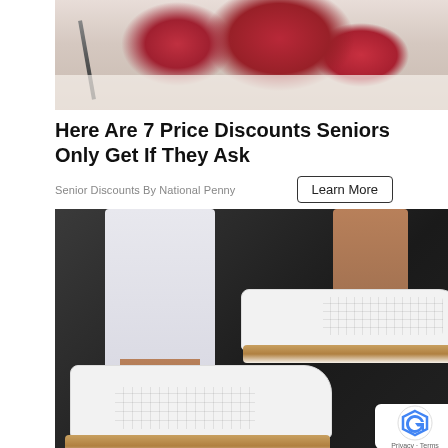[Figure (photo): Photo of raw meat/steak on white butcher paper with a knife visible on the left side]
Here Are 7 Price Discounts Seniors Only Get If They Ask
Senior Discounts By National Penny
Learn More
[Figure (photo): Photo of a person wearing white jeans and white perforated sneakers with cork/tan soles, standing on dark pavement]
The Sneakers for Standing All Day Without